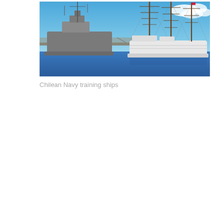[Figure (photo): Photograph of Chilean Navy training ships docked at a port. A large white tall ship with multiple masts is prominently visible on the right. A grey naval vessel is docked to the left. Clear blue sky with some clouds in the upper right. Blue water in the foreground.]
Chilean Navy training ships